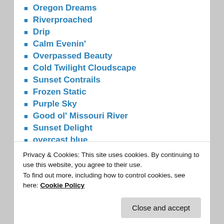Oregon Dreams
Riverproached
Drip
Calm Evenin'
Overpassed Beauty
Cold Twilight Cloudscape
Sunset Contrails
Frozen Static
Purple Sky
Good ol' Missouri River
Sunset Delight
overcast blue
Nice Clouds
Luna's Birth
Privacy & Cookies: This site uses cookies. By continuing to use this website, you agree to their use. To find out more, including how to control cookies, see here: Cookie Policy
Close and accept